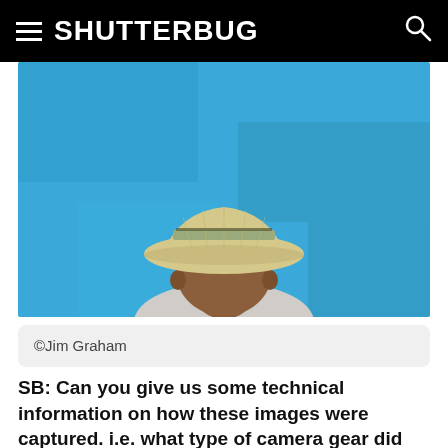SHUTTERBUG
[Figure (photo): Back view of a man wearing a straw cowboy hat against a bright blue wall. Shot from behind, showing the man's shoulders and hat in warm tones contrasting with the vivid blue background.]
©Jim Graham
SB: Can you give us some technical information on how these images were captured. i.e. what type of camera gear did you use, what lighting (if any) etc.?